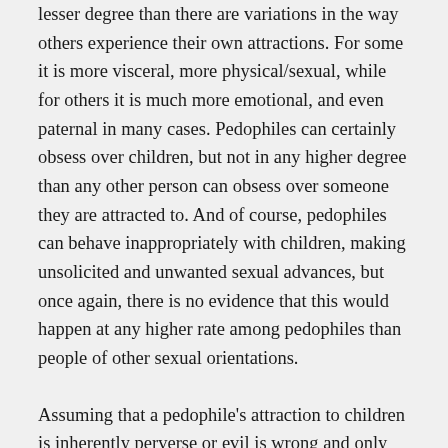lesser degree than there are variations in the way others experience their own attractions. For some it is more visceral, more physical/sexual, while for others it is much more emotional, and even paternal in many cases. Pedophiles can certainly obsess over children, but not in any higher degree than any other person can obsess over someone they are attracted to. And of course, pedophiles can behave inappropriately with children, making unsolicited and unwanted sexual advances, but once again, there is no evidence that this would happen at any higher rate among pedophiles than people of other sexual orientations.
Assuming that a pedophile's attraction to children is inherently perverse or evil is wrong and only contributes to further the stigmatization and vilification of people who, as a group and by definition, are not criminals or desire to harm anyone in any way. Acknowledging that there's nothing inherently wrong about being attracted to children, given that